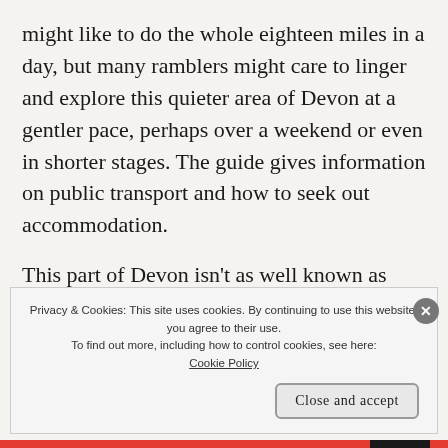might like to do the whole eighteen miles in a day, but many ramblers might care to linger and explore this quieter area of Devon at a gentler pace, perhaps over a weekend or even in shorter stages. The guide gives information on public transport and how to seek out accommodation.
This part of Devon isn't as well known as some others, but is well worth looking at – from
Privacy & Cookies: This site uses cookies. By continuing to use this website, you agree to their use. To find out more, including how to control cookies, see here: Cookie Policy